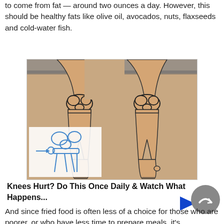to come from fat — around two ounces a day. However, this should be healthy fats like olive oil, avocados, nuts, flaxseeds and cold-water fish.
[Figure (illustration): Medical illustration showing knee joint anatomy — two legs viewed from the front with knee joints visible, plus a blue skeletal diagram inset showing knee joint structure with arrow pointing to joint space.]
Knees Hurt? Do This Once Daily & Watch What Happens...
And since fried food is often less of a choice for those who are poorer, or who have less time to prepare meals, it's